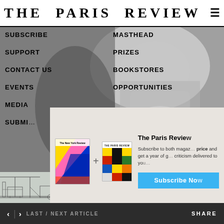THE PARIS REVIEW
SUBSCRIBE
SUPPORT
CONTACT US
EVENTS
MEDIA
SUBMISSIONS
MASTHEAD
PRIZES
BOOKSTORES
OPPORTUNITIES
[Figure (screenshot): Subscription modal showing two magazine covers (The New York Review and The Paris Review) with a plus sign between them, promotional text reading 'The Paris Review' and 'Subscribe to both magazines at one price and get a year of great fiction, poetry, and criticism delivered to your door', and a blue Subscribe Now button.]
[Figure (illustration): Black and white line illustration of an industrial/urban scene with structures, rails, and equipment.]
< > LAST / NEXT ARTICLE    SHARE